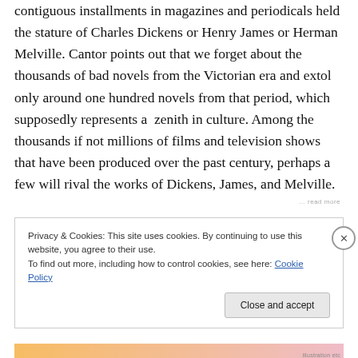contiguous installments in magazines and periodicals held the stature of Charles Dickens or Henry James or Herman Melville. Cantor points out that we forget about the thousands of bad novels from the Victorian era and extol only around one hundred novels from that period, which supposedly represents a zenith in culture. Among the thousands if not millions of films and television shows that have been produced over the past century, perhaps a few will rival the works of Dickens, James, and Melville.
Privacy & Cookies: This site uses cookies. By continuing to use this website, you agree to their use.
To find out more, including how to control cookies, see here: Cookie Policy